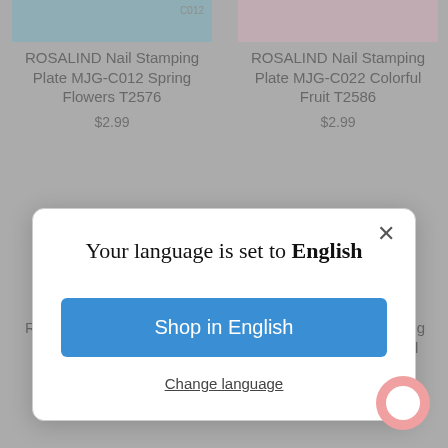ROSALIND Nail Stamping Plate MJG-C012 Spring Flowers T2576
$2.99
ROSALIND Nail Stamping Plate MJG-C022 Colorful Fruit T2586
$2.99
Your language is set to English
Shop in English
Change language
ROSALIND Nail Stamping Plate MJG-C023 Flying Snowflakes T2587
$2.99
ROSALIND Nail Stamping Plate MJG-C024 Beautiful Sunset T2588
$2.99